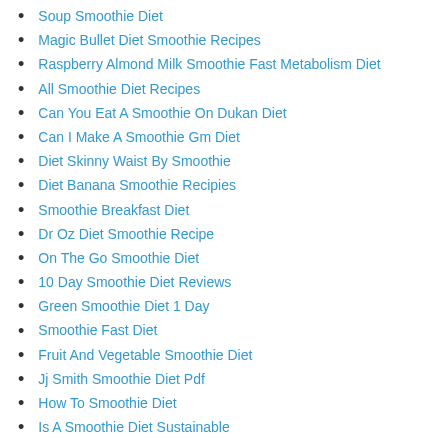Soup Smoothie Diet
Magic Bullet Diet Smoothie Recipes
Raspberry Almond Milk Smoothie Fast Metabolism Diet
All Smoothie Diet Recipes
Can You Eat A Smoothie On Dukan Diet
Can I Make A Smoothie Gm Diet
Diet Skinny Waist By Smoothie
Diet Banana Smoothie Recipies
Smoothie Breakfast Diet
Dr Oz Diet Smoothie Recipe
On The Go Smoothie Diet
10 Day Smoothie Diet Reviews
Green Smoothie Diet 1 Day
Smoothie Fast Diet
Fruit And Vegetable Smoothie Diet
Jj Smith Smoothie Diet Pdf
How To Smoothie Diet
Is A Smoothie Diet Sustainable